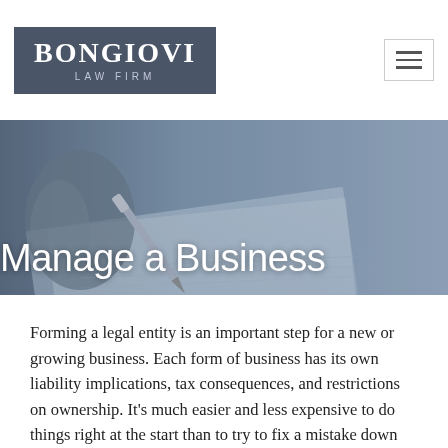BONGIOVI LAW FIRM
[Figure (photo): Hero banner showing a hand holding a pen signing a document, blue-gray toned photograph with overlay text 'Manage a Business']
Manage a Business
Forming a legal entity is an important step for a new or growing business. Each form of business has its own liability implications, tax consequences, and restrictions on ownership. It's much easier and less expensive to do things right at the start than to try to fix a mistake down the road. With all th